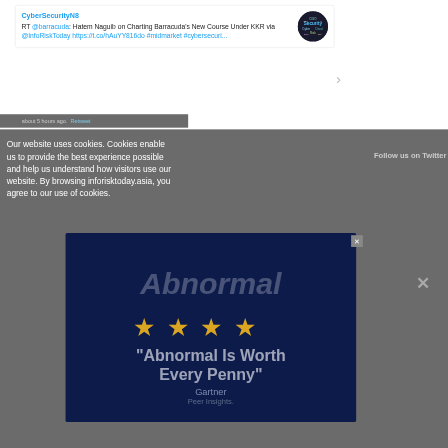CyberSecurityN8
RT @barracuda: Hatem Naguib on Charting Barracuda's New Course Under KKR via @InfoRiskToday https://t.co/hAuYY816do #midmarket #cybersecuri...
about 5 hours ago. Retweet
Our website uses cookies. Cookies enable us to provide the best experience possible and help us understand how visitors use our website. By browsing inforisktoday.asia, you agree to our use of cookies.
Follow us on Twitter
[Figure (screenshot): Ad overlay with dark blue background showing 'Abnormal' branding, four gold stars, and text 'Abnormal Is Worth Every Penny' with Gartner Peer Insights attribution]
[Figure (logo): Circular avatar with dark background showing 'Security' text in word-cloud style]